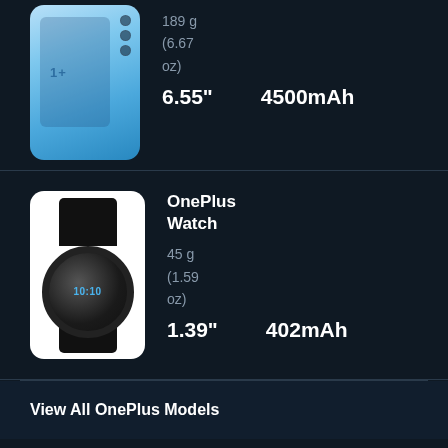[Figure (photo): OnePlus smartphone in light blue color, partially cropped at top]
189 g
(6.67 oz)
6.55"
4500mAh
OnePlus Watch
[Figure (photo): OnePlus Watch with round black face and black strap on white background]
45 g
(1.59 oz)
1.39"
402mAh
View All OnePlus Models
OnePlus 9R Reviews And User Opinions